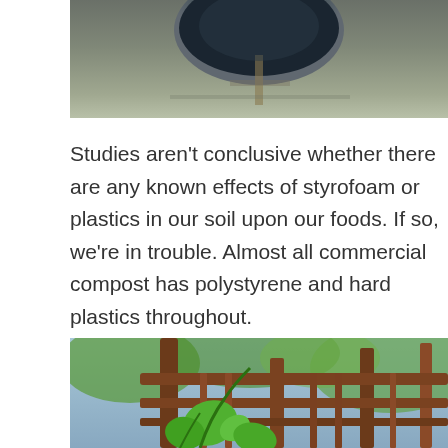[Figure (photo): Close-up photo of a dark blue/gray bowl or container on a ground surface, partially cropped at top of frame]
Studies aren't conclusive whether there are any known effects of styrofoam or plastics in our soil upon our foods. If so, we're in trouble. Almost all commercial compost has polystyrene and hard plastics throughout.
[Figure (photo): Photo of green climbing plants (possibly cucumber or squash) growing on a brown wooden deck railing, with blurred green tree foliage in the background]